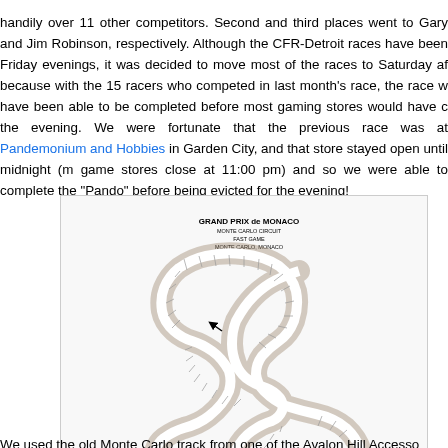handily over 11 other competitors. Second and third places went to Gary and Jim Robinson, respectively. Although the CFR-Detroit races have been Friday evenings, it was decided to move most of the races to Saturday af because with the 15 racers who competed in last month's race, the race w have been able to be completed before most gaming stores would have c the evening. We were fortunate that the previous race was at Pandemonium and Hobbies in Garden City, and that store stayed open until midnight (m game stores close at 11:00 pm) and so we were able to complete the “Pando” before being evicted for the evening!
[Figure (other): Map of the Grand Prix de Monaco Monte Carlo Circuit board game track layout, showing numbered spaces arranged in the winding Monaco street circuit shape.]
The Monte Carlo track we used to race on.
We used the old Monte Carlo track from one of the Avalon Hill Accesso